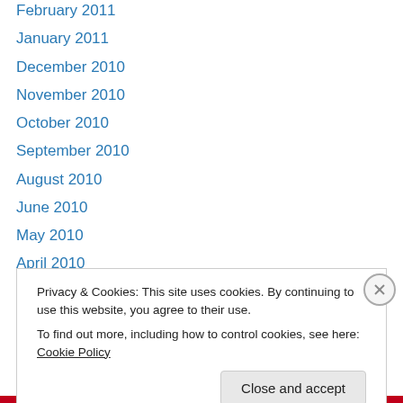February 2011
January 2011
December 2010
November 2010
October 2010
September 2010
August 2010
June 2010
May 2010
April 2010
March 2010
February 2010
January 2010
December 2009
Privacy & Cookies: This site uses cookies. By continuing to use this website, you agree to their use.
To find out more, including how to control cookies, see here: Cookie Policy